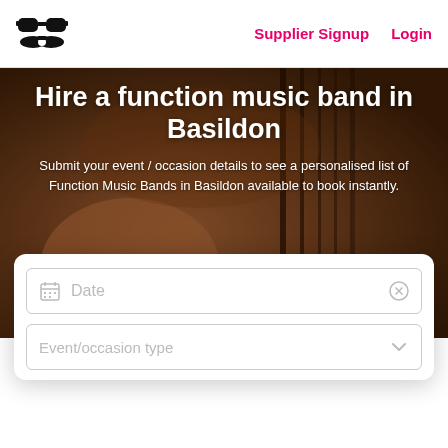[Figure (logo): Sunglasses/mustache logo icon in black]
Supplier Signup   Login
[Figure (photo): Background photo of musical instruments (guitar strings/hands) with warm brown tones]
Hire a function music band in Basildon
Submit your event / occasion details to see a personalised list of Function Music Bands in Basildon available to book instantly.
Date
Event/occasion type